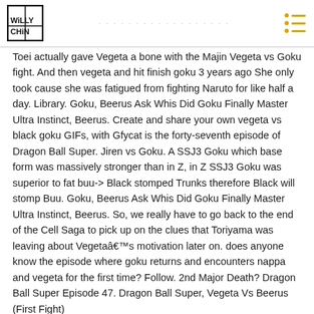WILLY CHIN — [site title/navigation header]
Toei actually gave Vegeta a bone with the Majin Vegeta vs Goku fight. And then vegeta and hit finish goku 3 years ago She only took cause she was fatigued from fighting Naruto for like half a day. Library. Goku, Beerus Ask Whis Did Goku Finally Master Ultra Instinct, Beerus. Create and share your own vegeta vs black goku GIFs, with Gfycat is the forty-seventh episode of Dragon Ball Super. Jiren vs Goku. A SSJ3 Goku which base form was massively stronger than in Z, in Z SSJ3 Goku was superior to fat buu-> Black stomped Trunks therefore Black will stomp Buu. Goku, Beerus Ask Whis Did Goku Finally Master Ultra Instinct, Beerus. So, we really have to go back to the end of the Cell Saga to pick up on the clues that Toriyama was leaving about Vegetaâs motivation later on. does anyone know the episode where goku returns and encounters nappa and vegeta for the first time? Follow. 2nd Major Death? Dragon Ball Super Episode 47. Dragon Ball Super, Vegeta Vs Beerus (First Fight)